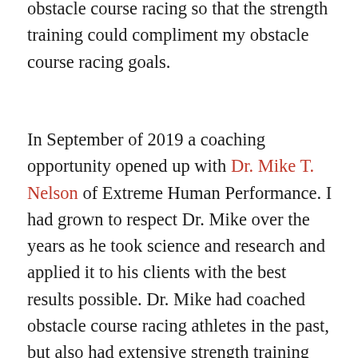obstacle course racing so that the strength training could compliment my obstacle course racing goals.
In September of 2019 a coaching opportunity opened up with Dr. Mike T. Nelson of Extreme Human Performance. I had grown to respect Dr. Mike over the years as he took science and research and applied it to his clients with the best results possible. Dr. Mike had coached obstacle course racing athletes in the past, but also had extensive strength training and nutrition knowledge. I jumped at the opportunity to hire him to help me reach my